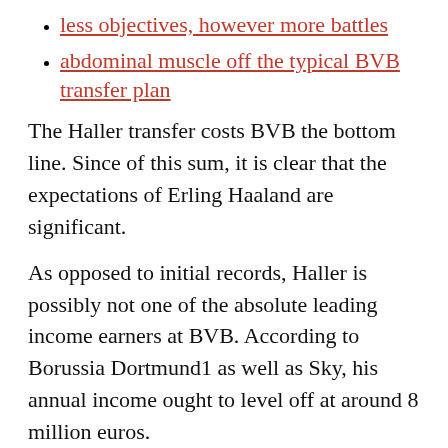less objectives, however more battles
abdominal muscle off the typical BVB transfer plan
The Haller transfer costs BVB the bottom line. Since of this sum, it is clear that the expectations of Erling Haaland are significant.
As opposed to initial records, Haller is possibly not one of the absolute leading income earners at BVB. According to Borussia Dortmund1 as well as Sky, his annual income ought to level off at around 8 million euros.
Formally, the change from Sébastien Haller to Borussia Dortmund is not. BVB could report enforcement on Thursday. Offered that there are no poor surprises in the